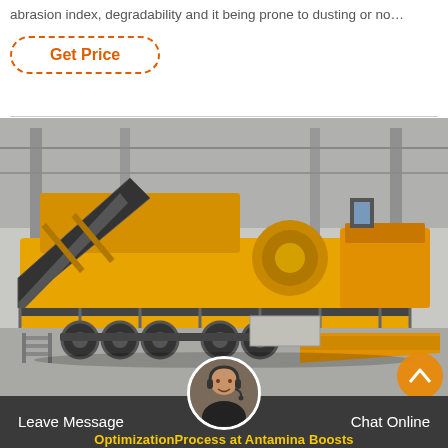abrasion index, degradability and it being prone to dusting or no…
Get Price
[Figure (photo): Large yellow mobile crushing/screening machine on wheels inside an industrial warehouse/factory setting.]
Leave Message   Chat Online
OptimizationProcess at Antamina Boosts